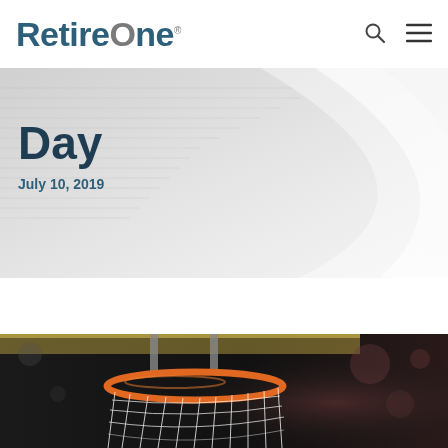RetireOne®
Day
July 10, 2019
[Figure (photo): Basketball hoop and net viewed from below, with orange rim and white net against a dark blurred arena background]